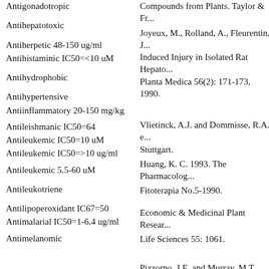Antigonadotropic
Compounds from Plants. Taylor & Fr...
Joyeux, M., Rolland, A., Fleurentin, J... Induced Injury in Isolated Rat Hepato... Planta Medica 56(2): 171-173, 1990.
Antihepatotoxic
Antiherpetic 48-150 ug/ml
Antihistaminic IC50=<10 uM
Vlietinck, A.J. and Dommisse, R.A. e... Stuttgart.
Antihydrophobic
Antihypertensive
Huang, K. C. 1993. The Pharmacolog...
Antiinflammatory 20-150 mg/kg
Fitoterapia No.5-1990.
Antileishmanic IC50=64
Antileukemic IC50=10 uM
Economic & Medicinal Plant Resear...
Antileukemic IC50=>10 ug/ml
Life Sciences 55: 1061.
Antileukemic 5.5-60 uM
Antileukotriene
Pizzorno, J.E. and Murray, M.T. 1985... Publications, Seattle, Washington (Lo...
Antilipoperoxidant IC67=50
Antimalarial IC50=1-6.4 ug/ml
Medicinal and Poisonous Plants of th...
Antimelanomic